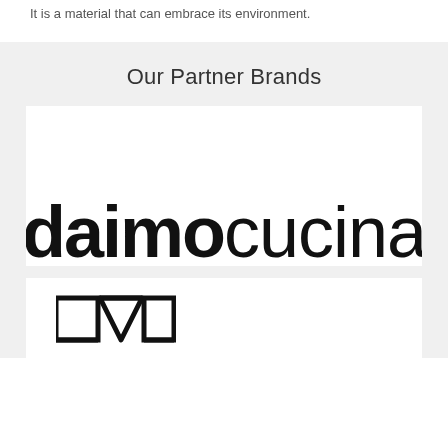It is a material that can embrace its environment.
Our Partner Brands
[Figure (logo): Daimo cucina brand logo in large bold black text, partially cropped at bottom of white card]
[Figure (logo): Second partner brand logo shown as geometric icon/mark in black lines, partially visible at bottom of white card]